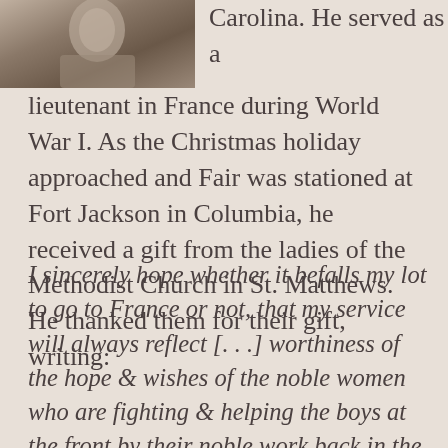[Figure (photo): Sepia-toned historical photograph of a person, cropped at top of page on left side]
Carolina. He served as a lieutenant in France during World War I. As the Christmas holiday approached and Fair was stationed at Fort Jackson in Columbia, he received a gift from the ladies of the Methodist Church in St. Matthews. He thanked them for their gift, writing:
I sincerely hope whether it befalls my lot to go to France or not, that my service will always reflect [...] worthiness of the hope & wishes of the noble women who are fighting & helping the boys at the front by their noble work back in the homes we are all fighting & making